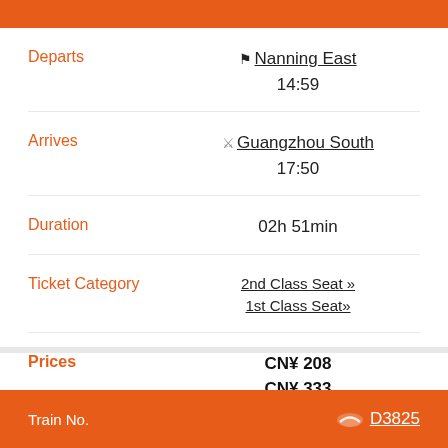Departs — Nanning East 14:59
Arrives — Guangzhou South 17:50
Duration — 02h 51min
Ticket Category — 2nd Class Seat » / 1st Class Seat»
Prices — CN¥208 / CN¥333
Tickets Available — 21 / 1
Train No. D3825